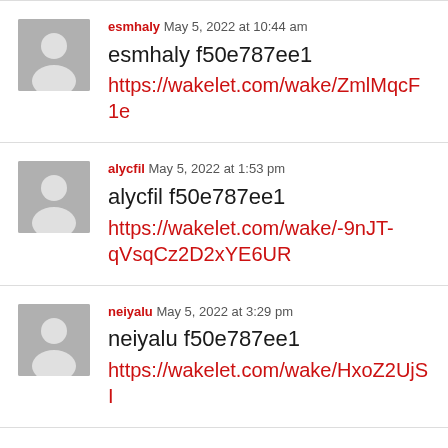esmhaly May 5, 2022 at 10:44 am
esmhaly f50e787ee1
https://wakelet.com/wake/ZmlMqcF1e
alycfil May 5, 2022 at 1:53 pm
alycfil f50e787ee1
https://wakelet.com/wake/-9nJT-qVsqCz2D2xYE6UR
neiyalu May 5, 2022 at 3:29 pm
neiyalu f50e787ee1
https://wakelet.com/wake/HxoZ2UjSI